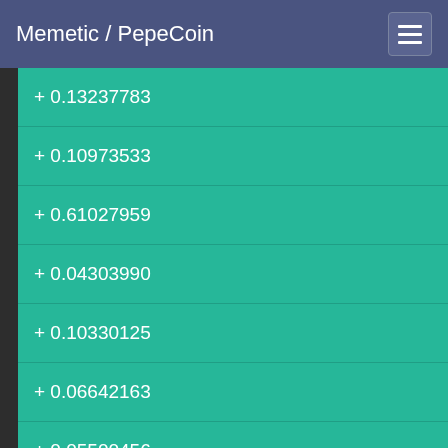Memetic / PepeCoin
+ 0.13237783
+ 0.10973533
+ 0.61027959
+ 0.04303990
+ 0.10330125
+ 0.06642163
+ 0.05500456
+ 0.10521778
+ 0.20597278
+ 0.01401808
+ 0.05117149